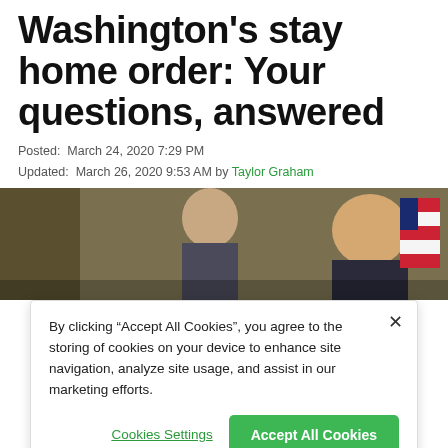Washington's stay home order: Your questions, answered
Posted:  March 24, 2020 7:29 PM
Updated:  March 26, 2020 9:53 AM by Taylor Graham
[Figure (photo): Two men at a press conference, one younger in background and one older in foreground, with an American flag visible to the right.]
By clicking “Accept All Cookies”, you agree to the storing of cookies on your device to enhance site navigation, analyze site usage, and assist in our marketing efforts.
Cookies Settings
Accept All Cookies